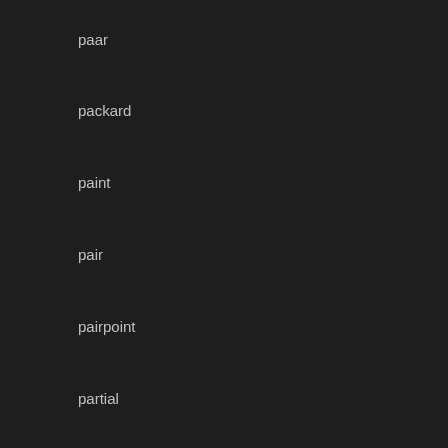paar
packard
paint
pair
pairpoint
partial
parts
pathfinder
pendant
pipe
plumbing
plymouth
pole
pond
poor